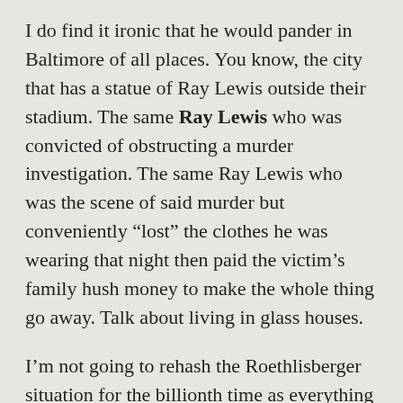I do find it ironic that he would pander in Baltimore of all places. You know, the city that has a statue of Ray Lewis outside their stadium. The same Ray Lewis who was convicted of obstructing a murder investigation. The same Ray Lewis who was the scene of said murder but conveniently “lost” the clothes he was wearing that night then paid the victim’s family hush money to make the whole thing go away. Talk about living in glass houses.
I’m not going to rehash the Roethlisberger situation for the billionth time as everything that’s been said on the subject has been said. By now, the people who think he got away with one or two rapes are going to keep right on thinking that while the people who see the discrepancies and the fact he was never formally charged by either woman as evidence of his innocence aren’t going to change their opinion either. What I do